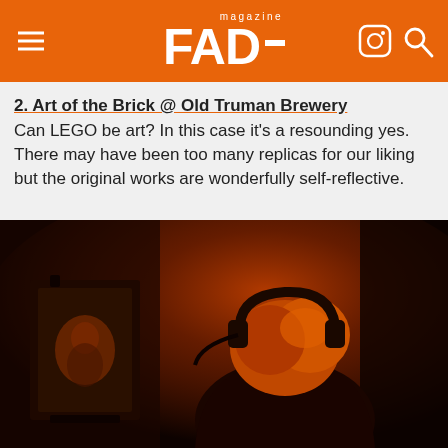FAD magazine
2. Art of the Brick @ Old Truman Brewery
Can LEGO be art? In this case it’s a resounding yes. There may have been too many replicas for our liking but the original works are wonderfully self-reflective.
[Figure (photo): A person with headphones sitting in a dark room lit with orange/red light, viewed from behind, with a mirror or screen in front of them reflecting their image.]